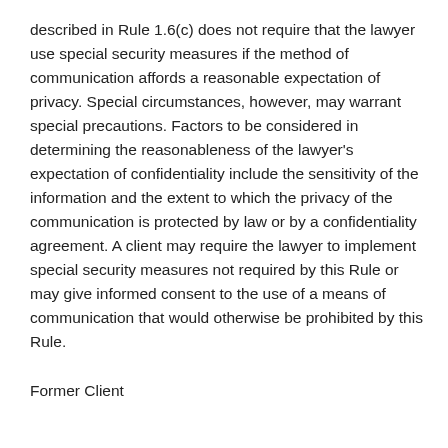described in Rule 1.6(c) does not require that the lawyer use special security measures if the method of communication affords a reasonable expectation of privacy. Special circumstances, however, may warrant special precautions. Factors to be considered in determining the reasonableness of the lawyer's expectation of confidentiality include the sensitivity of the information and the extent to which the privacy of the communication is protected by law or by a confidentiality agreement. A client may require the lawyer to implement special security measures not required by this Rule or may give informed consent to the use of a means of communication that would otherwise be prohibited by this Rule.
Former Client